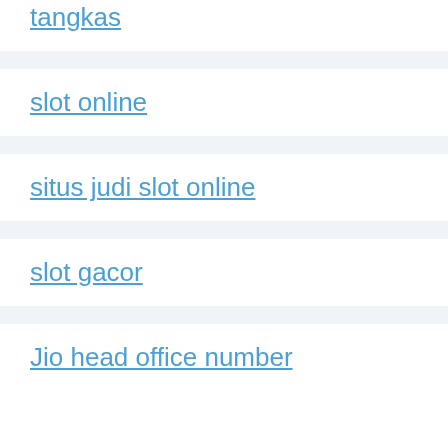tangkas
slot online
situs judi slot online
slot gacor
Jio head office number